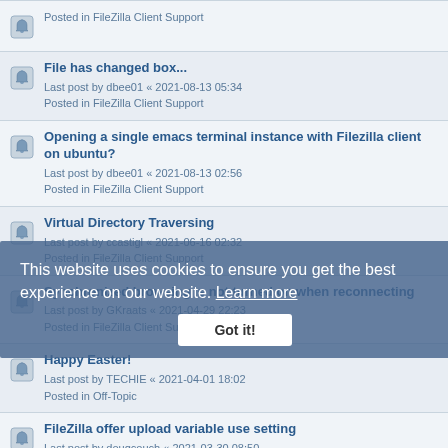Posted in FileZilla Client Support
File has changed box...
Last post by dbee01 « 2021-08-13 05:34
Posted in FileZilla Client Support
Opening a single emacs terminal instance with Filezilla client on ubuntu?
Last post by dbee01 « 2021-08-13 02:56
Posted in FileZilla Client Support
Virtual Directory Traversing
Last post by ccastigl « 2021-06-16 02:32
Posted in FileZilla Client Support
Synchronized browsing is not turned on when reconnecting
Last post by GKraats « 2021-04-29 22:23
Posted in FileZilla Client Support
Happy Easter!
Last post by TECHIE « 2021-04-01 18:02
Posted in Off-Topic
FileZilla offer upload variable use setting
Last post by dougcouch « 2021-03-30 08:50
Posted in General Discussion
FileZilla w/Notepad++ load files to edit to invoke offer upload
Last post by dougcouch « 2021-03-28 03:12
Posted in General Discussion
Lack of the total transfer's speed indicator
Last post by greenbrighteyes « 2021-03-16 08:41
Posted in FileZilla Client Support
FileZilla Client Feature Request: Navigation Buttons (back/forward)
Last post by rype69 « 2021-03-08 21:00
Posted in FileZilla and FileZilla Server Development
This website uses cookies to ensure you get the best experience on our website. Learn more
Got it!